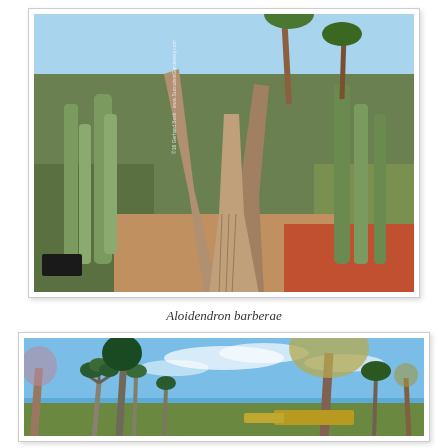[Figure (photo): Large Aloidendron barberae tree with thick trunk splitting into multiple branches, surrounded by tall columnar cacti, palms and colorful ground cover in a botanical garden. Watermark text visible on left side: '©16 Gerhard Bock - www.SuculentusGardinery.com']
Aloidendron barberae
[Figure (photo): Multiple tall Dracaena or Yucca-type trees with spiky rosette tops against a blue sky with wispy clouds, along with a large yellow-green leafy tree and palm trees in a botanical garden setting.]